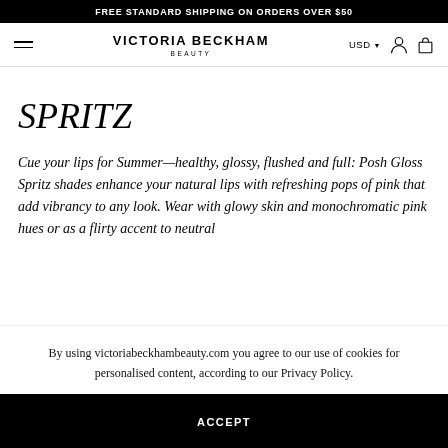FREE STANDARD SHIPPING ON ORDERS OVER $50
VICTORIA BECKHAM BEAUTY
SPRITZ
Cue your lips for Summer—healthy, glossy, flushed and full: Posh Gloss Spritz shades enhance your natural lips with refreshing pops of pink that add vibrancy to any look. Wear with glowy skin and monochromatic pink hues or as a flirty accent to neutral
By using victoriabeckhambeauty.com you agree to our use of cookies for personalised content, according to our Privacy Policy.
ACCEPT